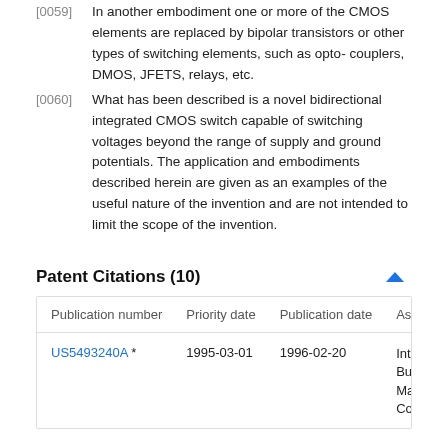[0059] In another embodiment one or more of the CMOS elements are replaced by bipolar transistors or other types of switching elements, such as opto-couplers, DMOS, JFETS, relays, etc.
[0060] What has been described is a novel bidirectional integrated CMOS switch capable of switching voltages beyond the range of supply and ground potentials. The application and embodiments described herein are given as an examples of the useful nature of the invention and are not intended to limit the scope of the invention.
Patent Citations (10)
| Publication number | Priority date | Publication date | Ass |
| --- | --- | --- | --- |
| US5493240A * | 1995-03-01 | 1996-02-20 | Inte Bu Ma Cor |